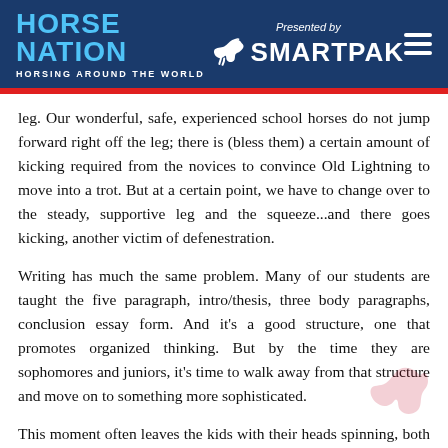HORSE NATION — HORSING AROUND THE WORLD | Presented by SmartPak
leg. Our wonderful, safe, experienced school horses do not jump forward right off the leg; there is (bless them) a certain amount of kicking required from the novices to convince Old Lightning to move into a trot. But at a certain point, we have to change over to the steady, supportive leg and the squeeze...and there goes kicking, another victim of defenestration.
Writing has much the same problem. Many of our students are taught the five paragraph, intro/thesis, three body paragraphs, conclusion essay form. And it's a good structure, one that promotes organized thinking. But by the time they are sophomores and juniors, it's time to walk away from that structure and move on to something more sophisticated.
This moment often leaves the kids with their heads spinning, both as riders and writers. Just this